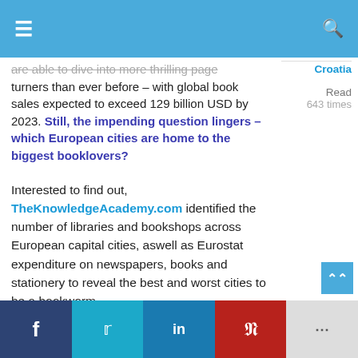≡  [navigation bar]  🔍
are able to dive into more thrilling page turners than ever before – with global book sales expected to exceed 129 billion USD by 2023. Still, the impending question lingers – which European cities are home to the biggest booklovers?
Croatia
Read
643 times
Interested to find out, TheKnowledgeAcademy.com identified the number of libraries and bookshops across European capital cities, aswell as Eurostat expenditure on newspapers, books and stationery to reveal the best and worst cities to be a bookworm.
Top 10 worst European cities to be a
f  t  in  p  ...